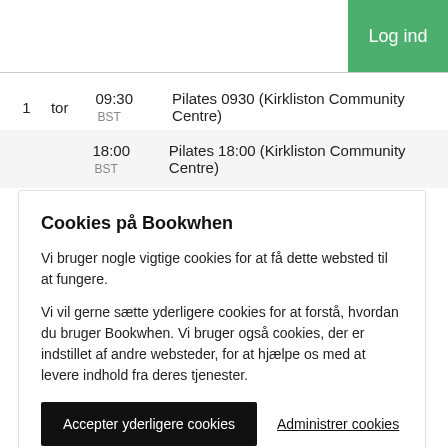Log ind
1  tor  09:30 BST  Pilates 0930 (Kirkliston Community Centre)
18:00 BST  Pilates 18:00 (Kirkliston Community Centre)
Cookies på Bookwhen
Vi bruger nogle vigtige cookies for at få dette websted til at fungere.
Vi vil gerne sætte yderligere cookies for at forstå, hvordan du bruger Bookwhen. Vi bruger også cookies, der er indstillet af andre websteder, for at hjælpe os med at levere indhold fra deres tjenester.
Accepter yderligere cookies  Administrer cookies